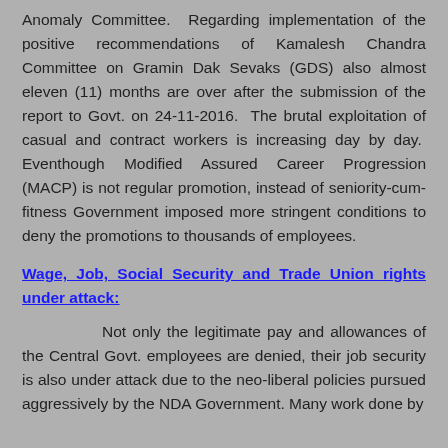Anomaly Committee. Regarding implementation of the positive recommendations of Kamalesh Chandra Committee on Gramin Dak Sevaks (GDS) also almost eleven (11) months are over after the submission of the report to Govt. on 24-11-2016. The brutal exploitation of casual and contract workers is increasing day by day. Eventhough Modified Assured Career Progression (MACP) is not regular promotion, instead of seniority-cum-fitness Government imposed more stringent conditions to deny the promotions to thousands of employees.
Wage, Job, Social Security and Trade Union rights under attack:
Not only the legitimate pay and allowances of the Central Govt. employees are denied, their job security is also under attack due to the neo-liberal policies pursued aggressively by the NDA Government. Many work done by